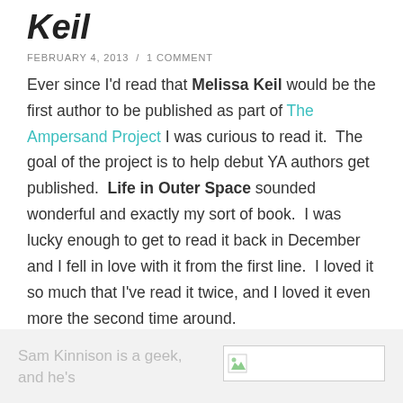Keil
FEBRUARY 4, 2013 / 1 COMMENT
Ever since I'd read that Melissa Keil would be the first author to be published as part of The Ampersand Project I was curious to read it.  The goal of the project is to help debut YA authors get published.  Life in Outer Space sounded wonderful and exactly my sort of book.  I was lucky enough to get to read it back in December and I fell in love with it from the first line.  I loved it so much that I've read it twice, and I loved it even more the second time around.
Sam Kinnison is a geek, and he's